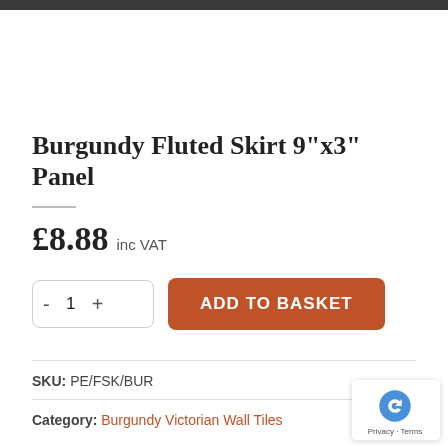Burgundy Fluted Skirt 9"x3" Panel
£8.88 inc VAT
SKU: PE/FSK/BUR
Category: Burgundy Victorian Wall Tiles